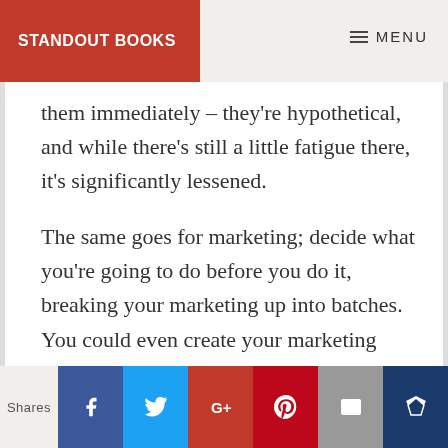STANDOUT BOOKS | MENU
them immediately – they're hypothetical, and while there's still a little fatigue there, it's significantly lessened.
The same goes for marketing; decide what you're going to do before you do it, breaking your marketing up into batches. You could even create your marketing
Shares | Facebook | Twitter | G+ | Pinterest | Email | Crown